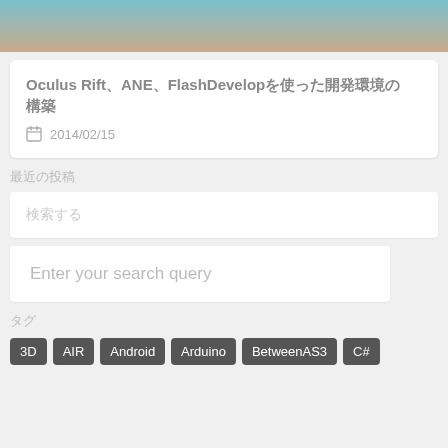[Figure (photo): Partial photo of a person, cropped at top of page]
Oculus Rift、ANE、FlashDevelopを使った開発環境の構築
2014/02/15
最近の投稿
検索する
Enter your search query
タグ
3D
AIR
Android
Arduino
BetweenAS3
C#